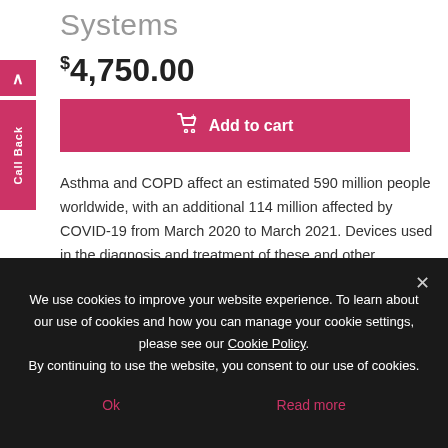Systems
$4,750.00
Add to cart
Asthma and COPD affect an estimated 590 million people worldwide, with an additional 114 million affected by COVID-19 from March 2020 to March 2021. Devices used in the diagnosis and treatment of these and other respiratory disorders include mechanical ventilators and pulmonary function testing systems.
March 30, 2021
We use cookies to improve your website experience. To learn about our use of cookies and how you can manage your cookie settings, please see our Cookie Policy.
By continuing to use the website, you consent to our use of cookies.
Ok
Read more